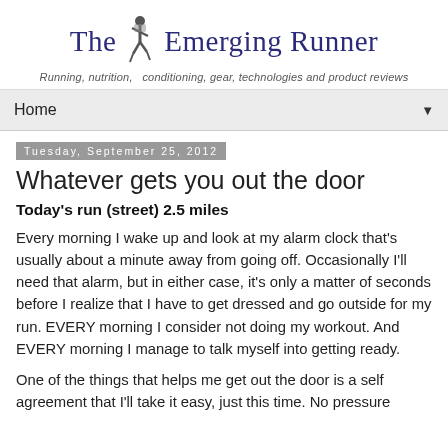The Emerging Runner — Running, nutrition, conditioning, gear, technologies and product reviews
Home
Tuesday, September 25, 2012
Whatever gets you out the door
Today's run (street) 2.5 miles
Every morning I wake up and look at my alarm clock that's usually about a minute away from going off. Occasionally I'll need that alarm, but in either case, it's only a matter of seconds before I realize that I have to get dressed and go outside for my run. EVERY morning I consider not doing my workout. And EVERY morning I manage to talk myself into getting ready.
One of the things that helps me get out the door is a self agreement that I'll take it easy, just this time. No pressure.